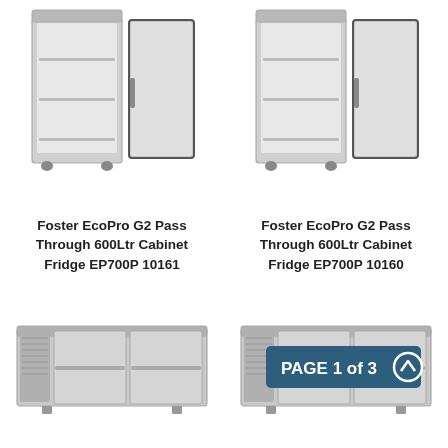[Figure (photo): Foster EcoPro G2 Pass Through upright cabinet fridge with doors open, stainless steel]
[Figure (photo): Foster EcoPro G2 Pass Through upright cabinet fridge with doors open, stainless steel]
Foster EcoPro G2 Pass Through 600Ltr Cabinet Fridge EP700P 10161
Foster EcoPro G2 Pass Through 600Ltr Cabinet Fridge EP700P 10160
[Figure (photo): Under-counter commercial refrigerator, stainless steel, two doors]
[Figure (photo): Under-counter commercial refrigerator, stainless steel, with PAGE 1 of 3 badge overlay]